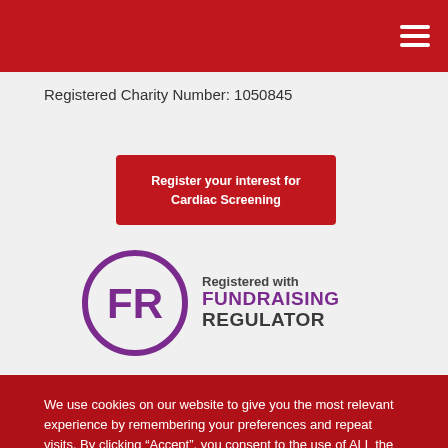Registered Charity Number: 1050845
Register your interest for Cardiac Screening
[Figure (logo): Registered with Fundraising Regulator logo — purple circle with FR initials, text 'Registered with FUNDRAISING REGULATOR']
[Figure (logo): Two British Assessment Bureau certification badges side by side]
We use cookies on our website to give you the most relevant experience by remembering your preferences and repeat visits. By clicking “Accept”, you consent to the use of ALL the cookies.
Cookie settings
ACCEPT